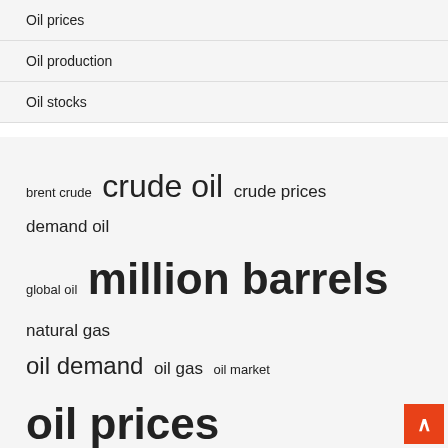Oil prices
Oil production
Oil stocks
brent crude  crude oil  crude prices  demand oil  global oil  million barrels  natural gas  oil demand  oil gas  oil market  oil prices  oil production  oil stocks  united states  west texas
Recent Posts